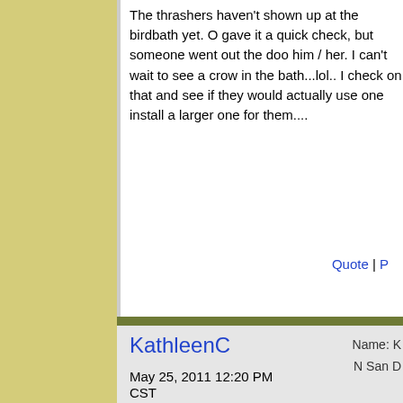The thrashers haven't shown up at the birdbath yet. O gave it a quick check, but someone went out the doo him / her. I can't wait to see a crow in the bath...lol.. I check on that and see if they would actually use one install a larger one for them....
Quote | P
KathleenC
May 25, 2011 12:20 PM CST
Name: K
N San D
No crows in our front pond, thanks to the mockingbird Mama is sitting in her nest. This morning Papa has b and I heard our cockatiel's song again - such a sweet

Surprisingly, two very young orioles were trying to us hummingbird feeder this morning - it hangs less than the nest - and she just sat in her nest quietly. I think t off somewhere, because there was no hullabaloo. Th finches, however, have been banished from the area. they can go to the backyard. Our only hint that the ne is the flag...her tail sticks up at one end!